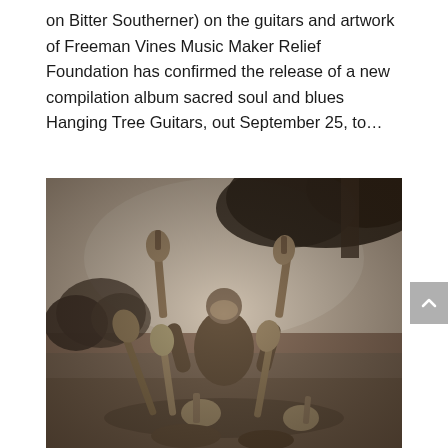on Bitter Southerner) on the guitars and artwork of Freeman Vines Music Maker Relief Foundation has confirmed the release of a new compilation album sacred soul and blues Hanging Tree Guitars, out September 25, to…
[Figure (photo): Sepia-toned black and white photograph of an elderly man sitting outdoors surrounded by multiple guitars. He holds two guitars up in the air with both hands, smiling broadly. Several more guitars are leaning or lying around him on the ground. Trees and an open field are visible in the background.]